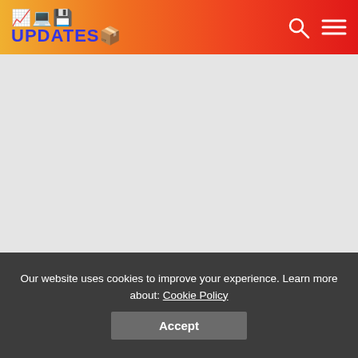UPDATES
[Figure (screenshot): Large gray placeholder content area representing an advertisement or embedded media block]
SEO Website Testing software has become very popular the...
Our website uses cookies to improve your experience. Learn more about: Cookie Policy
Accept